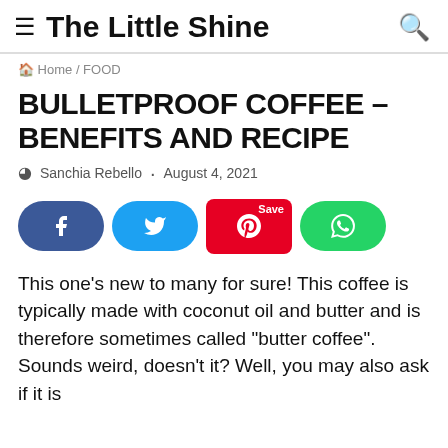≡ The Little Shine 🔍
🏠 Home / FOOD
BULLETPROOF COFFEE – BENEFITS AND RECIPE
Sanchia Rebello · August 4, 2021
[Figure (other): Social sharing buttons: Facebook, Twitter, Pinterest (Save), WhatsApp]
This one's new to many for sure! This coffee is typically made with coconut oil and butter and is therefore sometimes called "butter coffee". Sounds weird, doesn't it? Well, you may also ask if it is